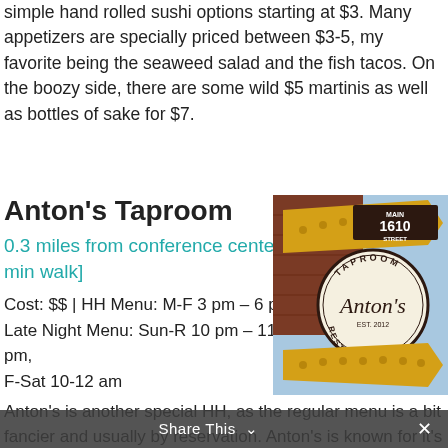simple hand rolled sushi options starting at $3. Many appetizers are specially priced between $3-5, my favorite being the seaweed salad and the fish tacos. On the boozy side, there are some wild $5 martinis as well as bottles of sake for $7.
Anton's Taproom
0.3 miles from conference center [7 min walk]
Cost: $$ | HH Menu: M-F 3 pm – 6 pm
Late Night Menu: Sun-R 10 pm – 11 pm, F-Sat 10-12 am
[Figure (photo): Photo of Anton's Taproom restaurant sign showing '1610 Main Street Taproom Anton's Restaurant EST. 2012' with yellow arrow signs and decorative lights]
Anton's is another special HH, as the regular menu is a bit fancier and usually by reservation. Anton's is known for it's exquisite meats, offering
Share This ∨  ✕